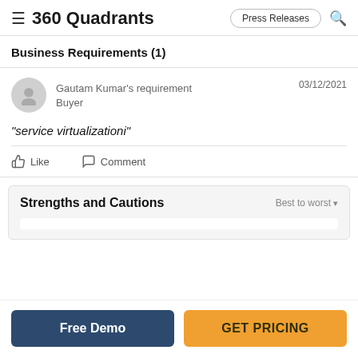≡ 360 Quadrants | Press Releases 🔍
Business Requirements (1)
Gautam Kumar's requirement | Buyer | 03/12/2021
"service virtualizationi"
👍 Like   💬 Comment
Strengths and Cautions | Best to worst ▾
Free Demo
GET PRICING